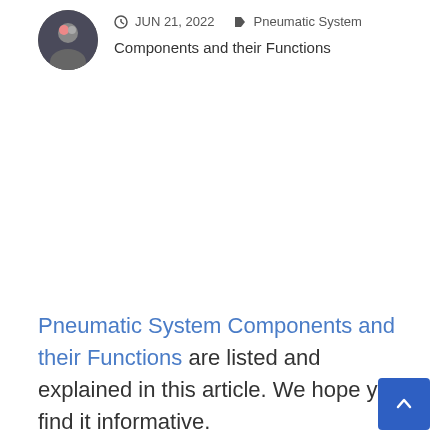[Figure (photo): Circular avatar/profile photo of a person]
JUN 21, 2022  Pneumatic System Components and their Functions
Pneumatic System Components and their Functions are listed and explained in this article. We hope you find it informative.